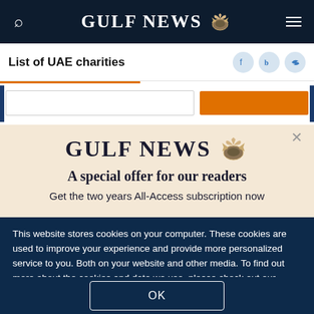GULF NEWS
List of UAE charities
GULF NEWS
A special offer for our readers
Get the two years All-Access subscription now
This website stores cookies on your computer. These cookies are used to improve your experience and provide more personalized service to you. Both on your website and other media. To find out more about the cookies and data we use, please check out our Privacy Policy.
OK